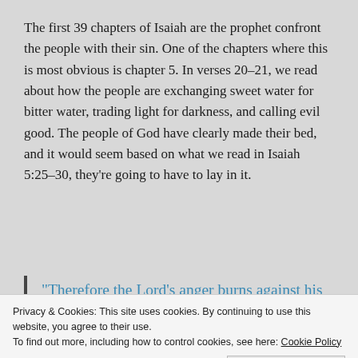The first 39 chapters of Isaiah are the prophet confront the people with their sin. One of the chapters where this is most obvious is chapter 5. In verses 20–21, we read about how the people are exchanging sweet water for bitter water, trading light for darkness, and calling evil good. The people of God have clearly made their bed, and it would seem based on what we read in Isaiah 5:25–30, they're going to have to lay in it.
“Therefore the Lord’s anger burns against his people; his hand is raised and he strikes
Privacy & Cookies: This site uses cookies. By continuing to use this website, you agree to their use.
To find out more, including how to control cookies, see here: Cookie Policy
Close and accept
lifts up a banner for the distant nations, he